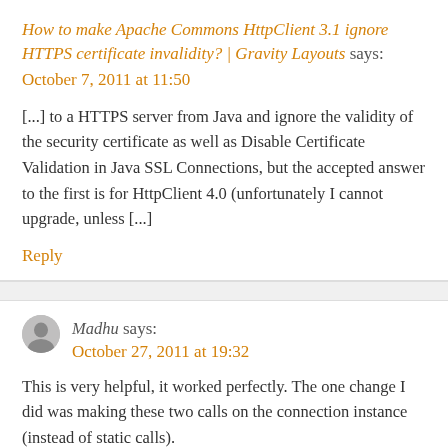How to make Apache Commons HttpClient 3.1 ignore HTTPS certificate invalidity? | Gravity Layouts says: October 7, 2011 at 11:50
[...] to a HTTPS server from Java and ignore the validity of the security certificate as well as Disable Certificate Validation in Java SSL Connections, but the accepted answer to the first is for HttpClient 4.0 (unfortunately I cannot upgrade, unless [...]
Reply
Madhu says: October 27, 2011 at 19:32
This is very helpful, it worked perfectly. The one change I did was making these two calls on the connection instance (instead of static calls).